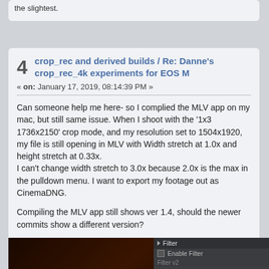the slightest.
crop_rec and derived builds / Re: Danne's crop_rec_4k experiments for EOS M
« on: January 17, 2019, 08:14:39 PM »
Can someone help me here- so I complied the MLV app on my mac, but still same issue. When I shoot with the '1x3 1736x2150' crop mode, and my resolution set to 1504x1920, my file is still opening in MLV with Width stretch at 1.0x and height stretch at 0.33x.
I can't change width stretch to 3.0x because 2.0x is the max in the pulldown menu. I want to export my footage out as CinemaDNG.
Compiling the MLV app still shows ver 1.4, should the newer commits show a different version?
[Figure (screenshot): Screenshot of MLV app showing a dark video preview on the left and a settings panel on the right with Filter section (Enable Filter checkbox) and Transformation section showing Width Stretch 1.0x, Height Stretch 0.33x, and Upside Down Off options.]